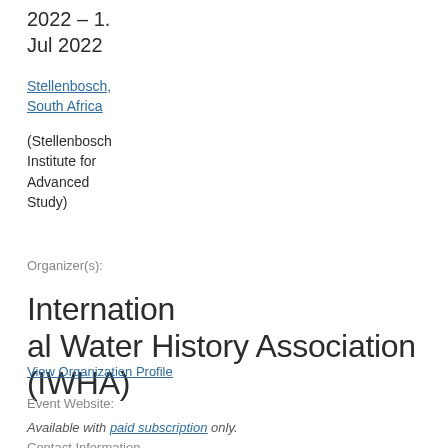2022 – 1. Jul 2022
Stellenbosch, South Africa
(Stellenbosch Institute for Advanced Study)
Organizer(s):
International Water History Association (IWHA)
View Organization Profile
Event Website:
Available with paid subscription only.
Contact Information